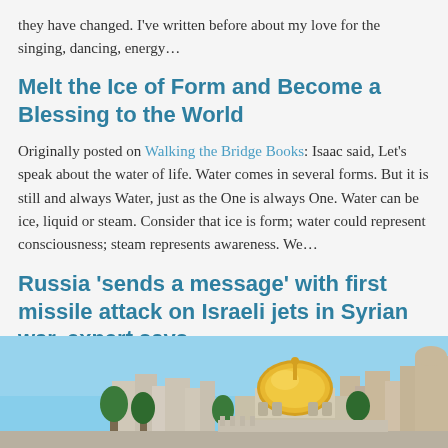they have changed. I've written before about my love for the singing, dancing, energy...
Melt the Ice of Form and Become a Blessing to the World
Originally posted on Walking the Bridge Books: Isaac said, Let's speak about the water of life. Water comes in several forms. But it is still and always Water, just as the One is always One. Water can be ice, liquid or steam. Consider that ice is form; water could represent consciousness; steam represents awareness. We...
Russia 'sends a message' with first missile attack on Israeli jets in Syrian war, expert says
[Figure (photo): Photograph of a Middle Eastern cityscape featuring a golden dome (Dome of the Rock) and other buildings against a blue sky, likely Jerusalem.]